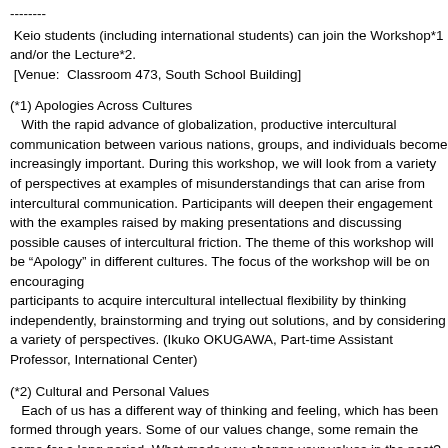--------
Keio students (including international students) can join the Workshop*1 and/or the Lecture*2.
[Venue:  Classroom 473, South School Building]
(*1) Apologies Across Cultures
With the rapid advance of globalization, productive intercultural communication between various nations, groups, and individuals become increasingly important. During this workshop, we will look from a variety of perspectives at examples of misunderstandings that can arise from intercultural communication. Participants will deepen their engagement with the examples raised by making presentations and discussing possible causes of intercultural friction. The theme of this workshop will be “Apology” in different cultures. The focus of the workshop will be on encouraging participants to acquire intercultural intellectual flexibility by thinking independently, brainstorming and trying out solutions, and by considering a variety of perspectives. (Ikuko OKUGAWA, Part-time Assistant Professor, International Center)
(*2) Cultural and Personal Values
Each of us has a different way of thinking and feeling, which has been formed through years. Some of our values change, some remain the same for a long period. What made you change your values in the past? What are your current values like? Are